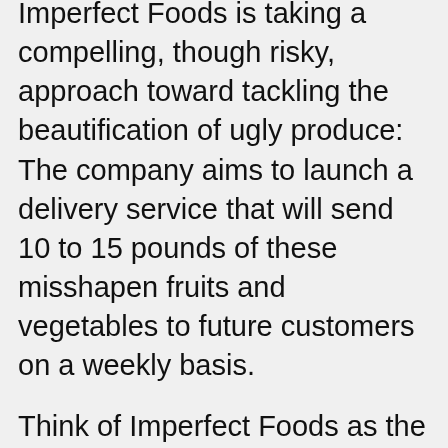Imperfect Foods is taking a compelling, though risky, approach toward tackling the beautification of ugly produce: The company aims to launch a delivery service that will send 10 to 15 pounds of these misshapen fruits and vegetables to future customers on a weekly basis.
Think of Imperfect Foods as the doppelgänger to your neighborhood community CSA (community supported agriculture). What is now a company of three people says it will start the service this summer in Berkeley and Oakland. The company says it will work with farmers across California to source these foods and then sell them to